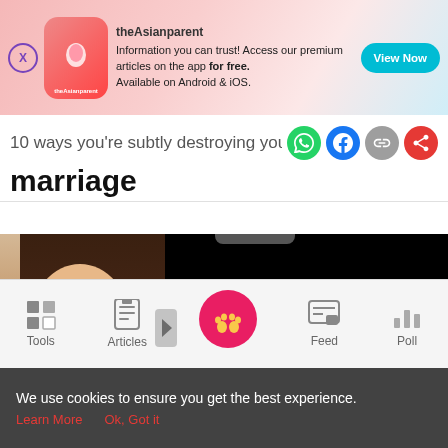[Figure (screenshot): theAsianparent app advertisement banner with pink gradient background, app logo, text 'Information you can trust! Access our premium articles on the app for free. Available on Android & iOS.' and a teal 'View Now' button]
10 ways you're subtly destroying your marriage
[Figure (photo): Woman peeking from behind a phone/device, partially obscured by a black rectangle covering the phone screen area]
[Figure (screenshot): Bottom navigation bar with Tools, Articles, center baby footprint icon, Feed, and Poll icons]
We use cookies to ensure you get the best experience.
Learn More    Ok, Got it